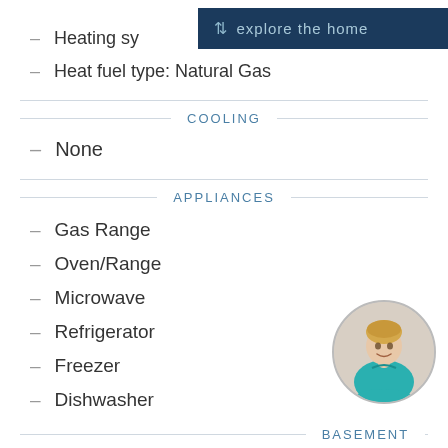[Figure (screenshot): Dark navy blue button overlay with updown arrow icon and text 'explore the home']
Heating sy...
Heat fuel type: Natural Gas
COOLING
None
APPLIANCES
Gas Range
Oven/Range
Microwave
Refrigerator
Freezer
Dishwasher
[Figure (photo): Circular profile photo of a smiling woman with blonde hair wearing a teal/turquoise top]
BASEMENT